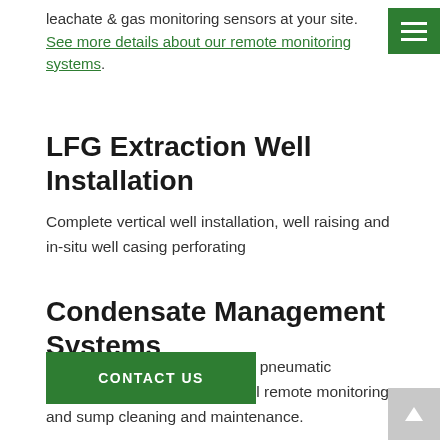leachate & gas monitoring sensors at your site. See more details about our remote monitoring systems.
LFG Extraction Well Installation
Complete vertical well installation, well raising and in-situ well casing perforating
Condensate Management Systems
Installation of both electric and pneumatic condensate pumps, sump level remote monitoring and sump cleaning and maintenance.
CONTACT US